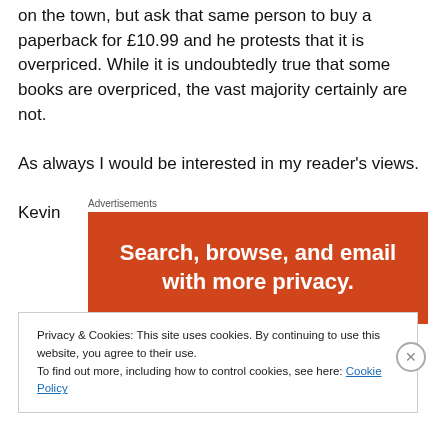on the town, but ask that same person to buy a paperback for £10.99 and he protests that it is overpriced. While it is undoubtedly true that some books are overpriced, the vast majority certainly are not.
As always I would be interested in my reader's views.
Kevin
Advertisements
[Figure (infographic): Orange advertisement banner with white bold text: Search, browse, and email with more privacy.]
Privacy & Cookies: This site uses cookies. By continuing to use this website, you agree to their use.
To find out more, including how to control cookies, see here: Cookie Policy
Close and accept